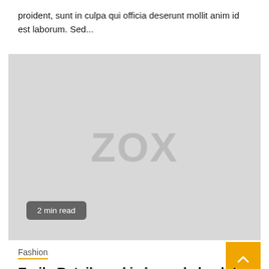proident, sunt in culpa qui officia deserunt mollit anim id est laborum. Sed...
[Figure (photo): Placeholder image with ZOX watermark in gray background, with a '2 min read' badge in the bottom-left corner]
Fashion
Emily Ratajkowski channels back-to-school style